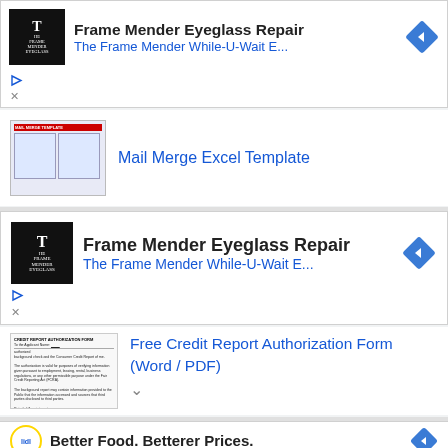[Figure (screenshot): Ad: Frame Mender Eyeglass Repair with logo and navigation arrow icon, top ad block]
[Figure (screenshot): Search result: Mail Merge Excel Template with thumbnail image]
[Figure (screenshot): Ad: Frame Mender Eyeglass Repair with logo and navigation arrow icon, second ad block]
[Figure (screenshot): Search result: Free Credit Report Authorization Form (Word / PDF) with thumbnail]
[Figure (screenshot): Ad: Better Food. Betterer Prices. Lidl with logo and navigation arrow icon]